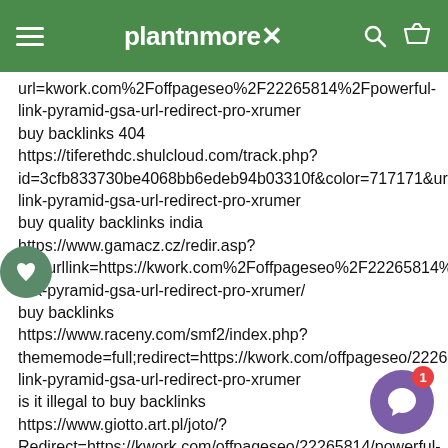plantnmorex
url=kwork.com%2Foffpageseo%2F22265814%2Fpowerful-link-pyramid-gsa-url-redirect-pro-xrumer
buy backlinks 404
https://tiferethdc.shulcloud.com/track.php?id=3cfb833730be4068bb6edeb94b03310f&color=717171&url=ht
link-pyramid-gsa-url-redirect-pro-xrumer
buy quality backlinks india
https://www.gamacz.cz/redir.asp?wenurllink=https://kwork.com%2Foffpageseo%2F22265814%2Fpo
link-pyramid-gsa-url-redirect-pro-xrumer/
buy backlinks
https://www.raceny.com/smf2/index.php?thememode=full;redirect=https://kwork.com/offpageseo/22265814
link-pyramid-gsa-url-redirect-pro-xrumer
is it illegal to buy backlinks
https://www.giotto.art.pl/joto/?Redirect=https://kwork.com/offpageseo/22265814/powerful-